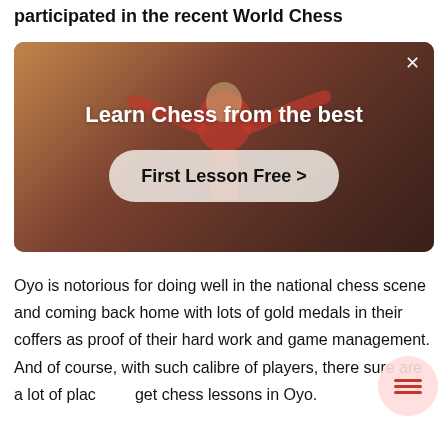participated in the recent World Chess
[Figure (photo): Advertisement banner for chess lessons showing a person in a red top with arms raised, with text 'Learn Chess from the best' and a button 'First Lesson Free >']
Oyo is notorious for doing well in the national chess scene and coming back home with lots of gold medals in their coffers as proof of their hard work and game management. And of course, with such calibre of players, there sure are a lot of places to get chess lessons in Oyo.